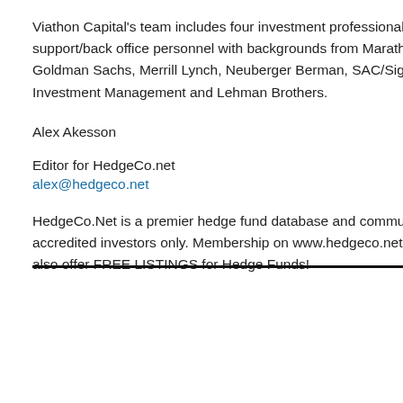Viathon Capital's team includes four investment professionals and two trade support/back office personnel with backgrounds from Marathon Asset Management, Goldman Sachs, Merrill Lynch, Neuberger Berman, SAC/Sigma, Providence Investment Management and Lehman Brothers.
Alex Akesson
Editor for HedgeCo.net
alex@hedgeco.net
HedgeCo.Net is a premier hedge fund database and community for qualified and accredited investors only. Membership on www.hedgeco.net is FREE and EASY. We also offer FREE LISTINGS for Hedge Funds!
Categories
Activist Funds (9)
Asian Hedge Fu...
Closing Hedge F...
Developing Stor...
Events (62)
Fund of Funds (7...)
Greece (2)
hedge fund clie...
Hedge Fund Co...
Hedge Fund Fra...
Hedge Fund Lau...
Hedge Fund Per...
Hedge Fund Re...
hedge fund ruli...
Hedge Fund Str...
Hedge Fund Tec...
hedge fund whit...
hedge-fund-rese...
HedgeCo Networ... (1,903)
HedgeCo News...
HedgeCoVest N...